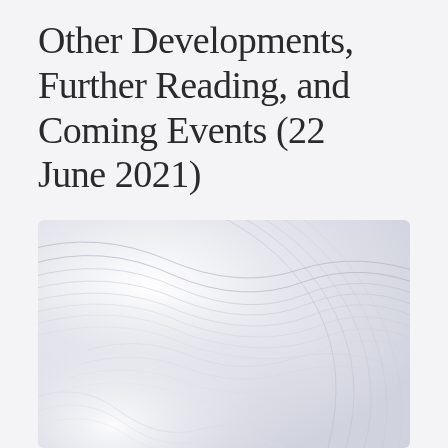Other Developments, Further Reading, and Coming Events (22 June 2021)
[Figure (illustration): Abstract wavy contour lines illustration in light gray/white tones, resembling topographic or flow patterns]